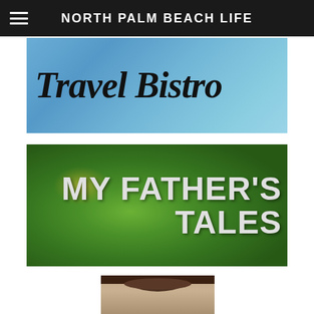NORTH PALM BEACH LIFE
[Figure (photo): Travel Bistro banner with blue sky background and italic black text reading 'Travel Bistro']
[Figure (photo): Green leafy background with white bold uppercase text reading 'MY FATHER'S TALES']
[Figure (photo): Partial photo of a person's head/face, cropped at bottom of page]